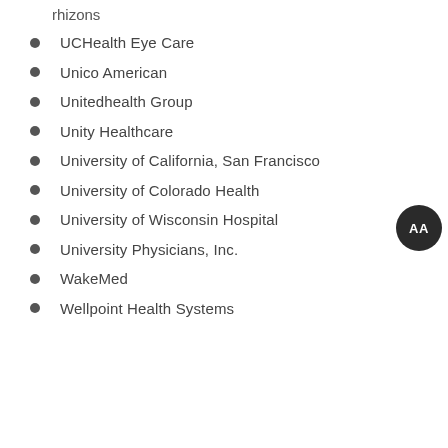rhizons
UCHealth Eye Care
Unico American
Unitedhealth Group
Unity Healthcare
University of California, San Francisco
University of Colorado Health
University of Wisconsin Hospital
University Physicians, Inc.
WakeMed
Wellpoint Health Systems